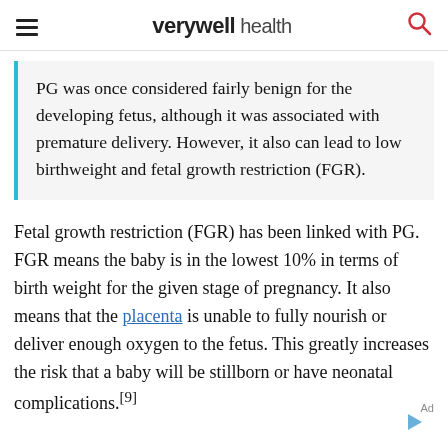verywell health
PG was once considered fairly benign for the developing fetus, although it was associated with premature delivery. However, it also can lead to low birthweight and fetal growth restriction (FGR).
Fetal growth restriction (FGR) has been linked with PG. FGR means the baby is in the lowest 10% in terms of birth weight for the given stage of pregnancy. It also means that the placenta is unable to fully nourish or deliver enough oxygen to the fetus. This greatly increases the risk that a baby will be stillborn or have neonatal complications.[9]